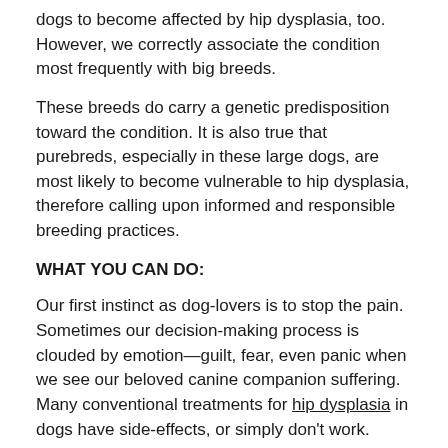dogs to become affected by hip dysplasia, too.  However, we correctly associate the condition most frequently with big breeds.
These breeds do carry a genetic predisposition toward the condition. It is also true that purebreds, especially in these large dogs, are most likely to become vulnerable to hip dysplasia, therefore calling upon informed and responsible breeding practices.
WHAT YOU CAN DO:
Our first instinct as dog-lovers is to stop the pain. Sometimes our decision-making process is clouded by emotion—guilt, fear, even panic when we see our beloved canine companion suffering. Many conventional treatments for hip dysplasia in dogs have side-effects, or simply don't work.
If your dog is clearly in pain, schedule a visit with